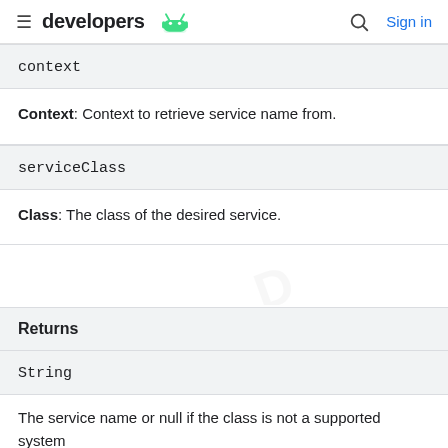developers [android logo] | Search | Sign in
context
Context: Context to retrieve service name from.
serviceClass
Class: The class of the desired service.
Returns
String
The service name or null if the class is not a supported system